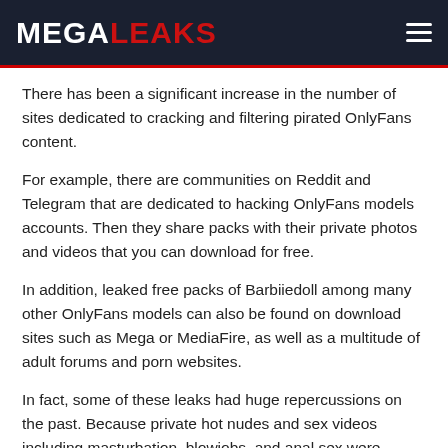MEGALEAKS
There has been a significant increase in the number of sites dedicated to cracking and filtering pirated OnlyFans content.
For example, there are communities on Reddit and Telegram that are dedicated to hacking OnlyFans models accounts. Then they share packs with their private photos and videos that you can download for free.
In addition, leaked free packs of Barbiiedoll among many other OnlyFans models can also be found on download sites such as Mega or MediaFire, as well as a multitude of adult forums and porn websites.
In fact, some of these leaks had huge repercussions on the past. Because private hot nudes and sex videos including masturbation, blowjobs, and anal sex were published on Twitter and Instagram,